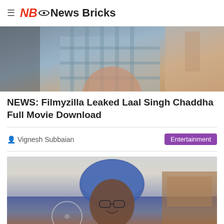≡ NB News Bricks
[Figure (photo): A person wearing a plaid shirt, cropped image showing torso in what appears to be a train or vehicle setting]
NEWS: Filmyzilla Leaked Laal Singh Chaddha Full Movie Download
Vignesh Subbaian
Entertainment
[Figure (photo): An elderly man wearing a blue turban and glasses, smiling, standing in a room with a fan visible]